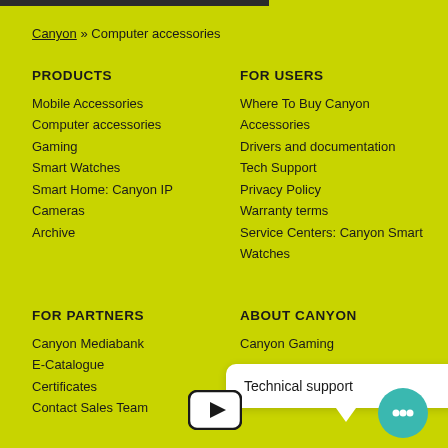Canyon » Computer accessories
PRODUCTS
Mobile Accessories
Computer accessories
Gaming
Smart Watches
Smart Home: Canyon IP
Cameras
Archive
FOR USERS
Where To Buy Canyon
Accessories
Drivers and documentation
Tech Support
Privacy Policy
Warranty terms
Service Centers: Canyon Smart Watches
FOR PARTNERS
Canyon Mediabank
E-Catalogue
Certificates
Contact Sales Team
ABOUT CANYON
Canyon Gaming
Technical support
[Figure (illustration): YouTube-style play button icon]
[Figure (illustration): Teal chat/support icon with three dots]